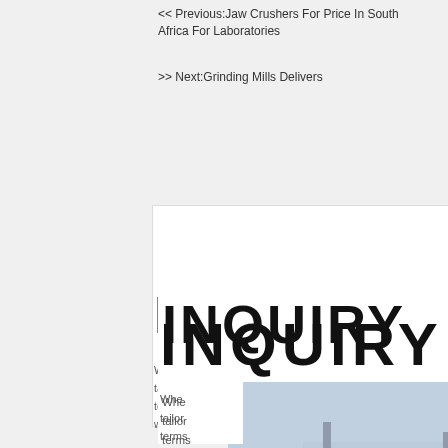<< Previous:Jaw Crushers For Price In South Africa For Laboratories
>> Next:Grinding Mills Delivers
INQUIRY
When you contact us, please provide your detail requirements. That will help us give you a valid quotation. We supply the following information: materials, capacity, feeding size, final product size, the country, how many operators we will tailor made complete set of equipment for you within 24 hours.
[Figure (photo): Live chat popup with workers in yellow hard hats, LIVE CHAT heading in red, Click for a Free Consultation text, Chat now (red button) and Chat later (dark button)]
[Figure (photo): Right sidebar with orange background showing mining/crushing machinery images, Enjoy 3% discount, Click to Chat in yellow, Enquiry section, limingjlmofen@sina.com email]
pruduct*
Application*
Capacity*